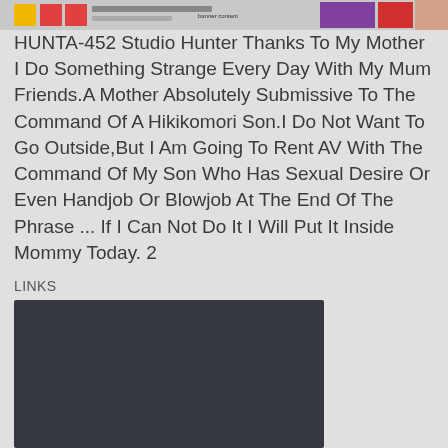[Figure (photo): A banner image showing adult content thumbnails at the top of the page]
HUNTA-452 Studio Hunter Thanks To My Mother I Do Something Strange Every Day With My Mum Friends.A Mother Absolutely Submissive To The Command Of A Hikikomori Son.I Do Not Want To Go Outside,But I Am Going To Rent AV With The Command Of My Son Who Has Sexual Desire Or Even Handjob Or Blowjob At The End Of The Phrase ... If I Can Not Do It I Will Put It Inside Mommy Today. 2
LINKS
[Figure (screenshot): A dark-colored embedded video/media player area]